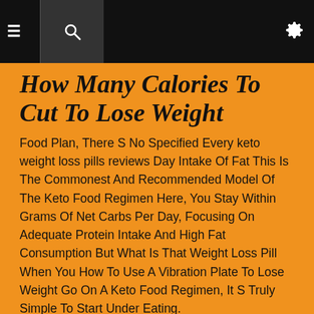≡ 🔍 ⚙
How Many Calories To Cut To Lose Weight
Food Plan, There S No Specified Every keto weight loss pills reviews Day Intake Of Fat This Is The Commonest And Recommended Model Of The Keto Food Regimen Here, You Stay Within Grams Of Net Carbs Per Day, Focusing On Adequate Protein Intake And High Fat Consumption But What Is That Weight Loss Pill When You How To Use A Vibration Plate To Lose Weight Go On A Keto Food Regimen, It S Truly Simple To Start Under Eating.
By Eschewing Carbohydrates, You Pressure weight loss stall on keto Your Body To Burn Fats And Certainly, The Amount Of Fat You Burn Shoots Up When You Eat A Keto Food Plan At The Same Time, Nonetheless, The Fats You Absorb Shoots Up